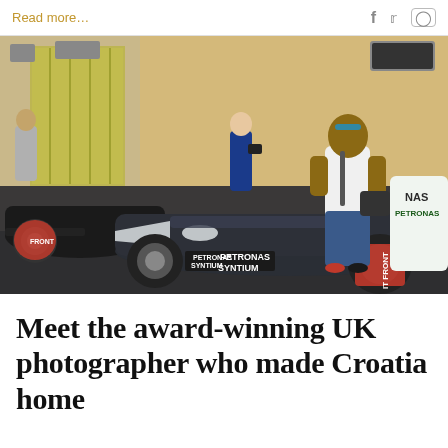Read more... [social icons: f, twitter, instagram]
[Figure (photo): A man in a white t-shirt and jeans standing next to a Mercedes-AMG Petronas Formula 1 car in a pit lane garage, smiling at the camera. Other people and F1 cars are visible in the background. The Mercedes car shows 'PETRONAS SYNTIUM' branding on the nose. The man is wearing sunglasses on his head and has a camera bag.]
Meet the award-winning UK photographer who made Croatia home